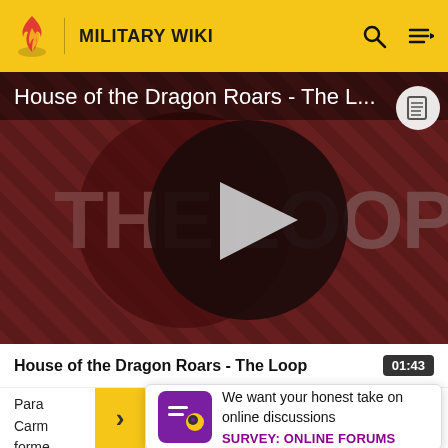MILITARY WIKI
[Figure (screenshot): Video thumbnail for 'House of the Dragon Roars - The Loop' showing a dark red/maroon diagonal striped background with 'THE LOOP' text displayed prominently. A large circular dark overlay contains a white play button triangle in the center. Top-left shows partial text 'House of the Dragon Roars - The L...' in white. Top-right has a document icon button.]
House of the Dragon Roars - The Loop
Para   the
Carm                                  the
forme
We want your honest take on online discussions
SURVEY: ONLINE FORUMS